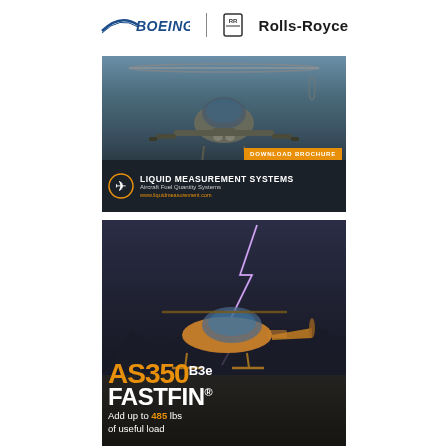[Figure (logo): Boeing logo and Rolls-Royce logo side by side at top of page]
[Figure (photo): Military Apache attack helicopter viewed head-on with weapons loaded, advertisement for Liquid Measurement Systems Aircraft Fuel Quantity Systems with orange Download Brochure button and website www.liquidmeasurement.com]
[Figure (photo): AS350 B3e helicopter on ground with lightning in background, advertisement text: AS350 B3e FASTFIN® Add up to 485 lbs of useful load]